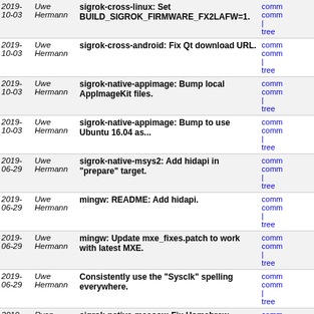| Date | Author | Message | Links |
| --- | --- | --- | --- |
| 2019-10-03 | Uwe Hermann | sigrok-cross-linux: Set BUILD_SIGROK_FIRMWARE_FX2LAFW=1. | comm | tree |
| 2019-10-03 | Uwe Hermann | sigrok-cross-android: Fix Qt download URL. | comm | tree |
| 2019-10-03 | Uwe Hermann | sigrok-native-appimage: Bump local AppImageKit files. | comm | tree |
| 2019-10-03 | Uwe Hermann | sigrok-native-appimage: Bump to use Ubuntu 16.04 as... | comm | tree |
| 2019-06-29 | Uwe Hermann | sigrok-native-msys2: Add hidapi in "prepare" target. | comm | tree |
| 2019-06-29 | Uwe Hermann | mingw: README: Add hidapi. | comm | tree |
| 2019-06-29 | Uwe Hermann | mingw: Update mxe_fixes.patch to work with latest MXE. | comm | tree |
| 2019-06-29 | Uwe Hermann | Consistently use the "Sysclk" spelling everywhere. | comm | tree |
| 2019-03-26 | Ryan Govostes | sigrok-native-macosx: Fix Homebrew package paths | comm | tree |
| 2019-01-13 | Gerhard Sittig | appimage: pass $ARCH to appimagetool | comm | tree |
| 2019-01-13 | Uwe Hermann | sigrok-cross-linux: Add $BUILD_SIGROK_FIRMWARE_FX2LAFW. | comm | tree |
| 2019-01-11 | Uwe Hermann | sigrok-cross-mingw: Fix broken Zadig download URLs. | comm | tree |
| 2018-12-20 | Gerhard Sittig | new-driver: keep driver_info local to the api.c source... | comm | tree |
| 2018- | Uwe | sigrok-native-macosx: Change DMG name to | comm |